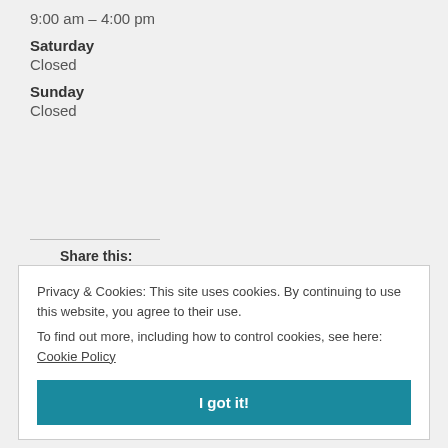9:00 am – 4:00 pm
Saturday
Closed
Sunday
Closed
Share this:
Privacy & Cookies: This site uses cookies. By continuing to use this website, you agree to their use.
To find out more, including how to control cookies, see here: Cookie Policy
I got it!